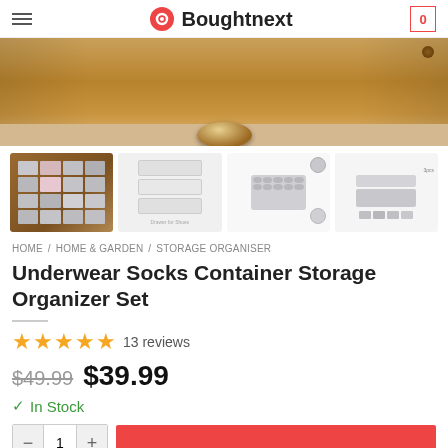Boughtnext
[Figure (photo): Main product image showing a wooden drawer with rounded handle on a beige carpet background]
[Figure (photo): Four product thumbnail images: 1) Open wooden drawer with grey organizer compartments holding folded socks/underwear, 2) White drawer organizer system with multiple trays and text, 3) Grey storage organizer trays with circular detail callouts, 4) Grey 3-piece organizer set with various compartment sizes]
HOME / HOME & GARDEN / STORAGE ORGANISER
Underwear Socks Container Storage Organizer Set
★★★★★ 13 reviews
$49.99  $39.99
✓ In Stock